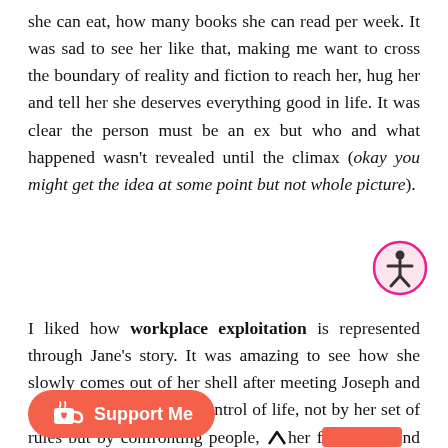she can eat, how many books she can read per week. It was sad to see her like that, making me want to cross the boundary of reality and fiction to reach her, hug her and tell her she deserves everything good in life. It was clear the person must be an ex but who and what happened wasn't revealed until the climax (okay you might get the idea at some point but not whole picture).
[Figure (other): Accessibility icon — a circular pink-bordered icon with a person figure in the center]
I liked how workplace exploitation is represented through Jane's story. It was amazing to see how she slowly comes out of her shell after meeting Joseph and Aggie, try to take more control of life, not by her set of rules but by confronting people, her f[obscured]nd what she want to do about
[Figure (other): Support Me button — a red/coral rounded pill button with a Ko-fi cup icon and heart, labeled Support Me]